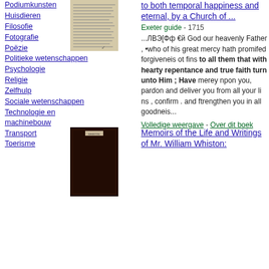Podiumkunsten
Huisdieren
Filosofie
Fotografie
Poëzie
Politieke wetenschappen
Psychologie
Religie
Zelfhulp
Sociale wetenschappen
Technologie en machinebouw
Transport
Toerisme
[Figure (photo): Scanned page of an old book with text]
to both temporal happiness and eternal, by a Church of ...
Exeter guide - 1715
...ЛВЭ[Фф €й God our heavenly Father , •who of his great mercy hath promifed forgiveneis ot fins to all them that with hearty repentance and true faith turn unto Him ; Have merey npon you, pardon and deliver you from all your li ns , confirm . and ftrengthen you in all goodneis...
Volledige weergave - Over dit boek
[Figure (photo): Dark book cover image]
Memoirs of the Life and Writings of Mr. William Whiston: